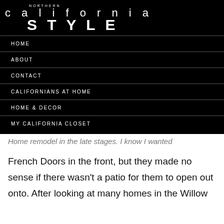NORTHERN california STYLE
HOME
ABOUT
CONTACT
CALIFORNIANS AT HOME
HOME & DECOR
MY CALIFORNIA CLOSET
Home remodel in the late stages. I know I wanted French Doors in the front, but they made no sense if there wasn't a patio for them to open out onto. After looking at many homes in the Willow